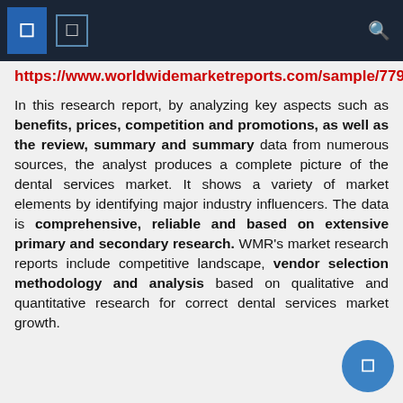[ ] [ ] search
https://www.worldwidemarketreports.com/sample/779776
In this research report, by analyzing key aspects such as benefits, prices, competition and promotions, as well as the review, summary and summary data from numerous sources, the analyst produces a complete picture of the dental services market. It shows a variety of market elements by identifying major industry influencers. The data is comprehensive, reliable and based on extensive primary and secondary research. WMR's market research reports include competitive landscape, vendor selection methodology and analysis based on qualitative and quantitative research for correct dental services market growth.